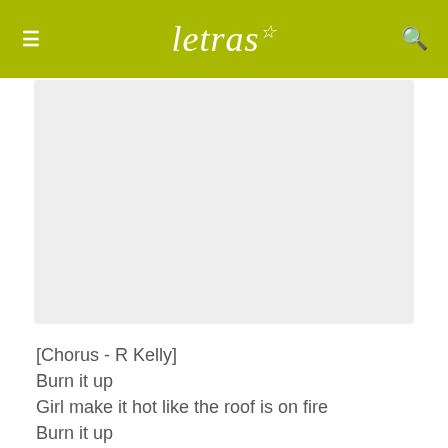letras
[Figure (other): Gray advertisement/banner placeholder box]
[Chorus - R Kelly]
Burn it up
Girl make it hot like the roof is on fire
Burn it up
Girl the way you dance you are my one desire
Burn it up
Girl I don't care if the whole place burn down
Burn it up burn it up burn it up